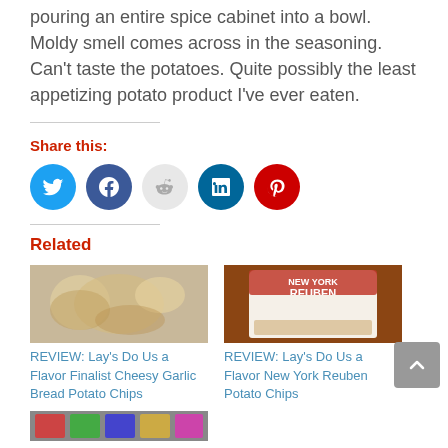pouring an entire spice cabinet into a bowl. Moldy smell comes across in the seasoning. Can't taste the potatoes. Quite possibly the least appetizing potato product I've ever eaten.
Share this:
[Figure (infographic): Row of social media share icons: Twitter (blue), Facebook (dark blue), Reddit (light grey), LinkedIn (dark teal), Pinterest (red)]
Related
[Figure (photo): Photo of Lay's potato chips in a bowl for Cheesy Garlic Bread flavor related article]
REVIEW: Lay's Do Us a Flavor Finalist Cheesy Garlic Bread Potato Chips
[Figure (photo): Photo of Lay's New York Reuben potato chips bag]
REVIEW: Lay's Do Us a Flavor New York Reuben Potato Chips
[Figure (photo): Partial photo of additional related article at bottom of page]